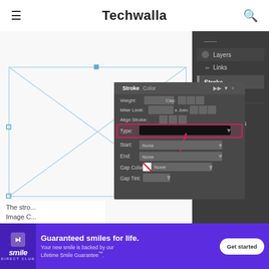Techwalla
[Figure (screenshot): Adobe InDesign screenshot showing a Stroke panel dialog with Type dropdown highlighted by a red arrow, alongside the right panel showing Layers, Links, Stroke, Color, Swatches, and CC Libraries. The canvas shows a wireframe/image placeholder with blue lines.]
The stro... Image C...
[Figure (infographic): Advertisement banner for Smile Direct Club: 'Guaranteed smiles for life. Your new smile is backed by our Lifetime Smile Guarantee.' with Get started button.]